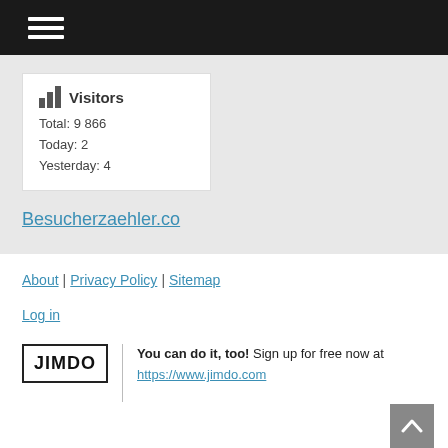Navigation menu (hamburger icon)
[Figure (infographic): Visitors widget showing bar chart icon with title 'Visitors', Total: 9 866, Today: 2, Yesterday: 4]
Besucherzaehler.co
About | Privacy Policy | Sitemap
Log in
JIMDO | You can do it, too! Sign up for free now at https://www.jimdo.com